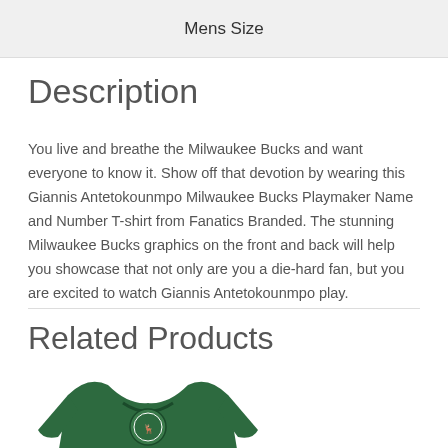Mens Size
Description
You live and breathe the Milwaukee Bucks and want everyone to know it. Show off that devotion by wearing this Giannis Antetokounmpo Milwaukee Bucks Playmaker Name and Number T-shirt from Fanatics Branded. The stunning Milwaukee Bucks graphics on the front and back will help you showcase that not only are you a die-hard fan, but you are excited to watch Giannis Antetokounmpo play.
Related Products
[Figure (photo): Green Milwaukee Bucks jersey with number 00 on the back]
[Figure (other): Sale badge - green circle with Sale! text, over dark background]